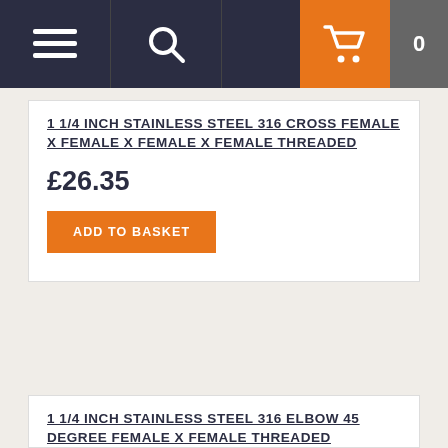[Figure (screenshot): Navigation bar with hamburger menu, search icon, shopping cart and item count badge (0)]
1 1/4 INCH STAINLESS STEEL 316 CROSS FEMALE X FEMALE X FEMALE X FEMALE THREADED
£26.35
ADD TO BASKET
1 1/4 INCH STAINLESS STEEL 316 ELBOW 45 DEGREE FEMALE X FEMALE THREADED
£11.45
ADD TO BASKET
[Figure (screenshot): Cookie consent overlay popup with title 'Cookie Policy', body text 'This site uses cookies to store information on your computer.', question 'Happy to accept?' and green checkmark / red X buttons]
Cookie Policy
This site uses cookies to store information on your computer.
Happy to accept?